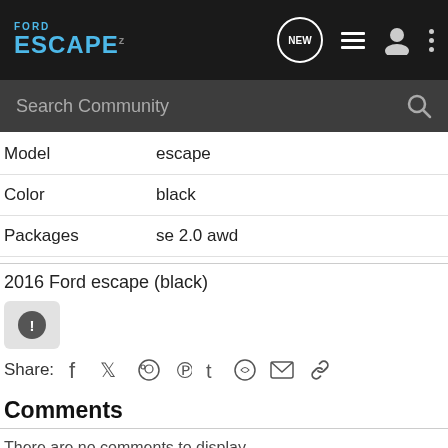[Figure (screenshot): Ford Escape community website navigation bar with logo, new message bubble, list icon, user icon, and more options dots]
[Figure (screenshot): Search Community input bar with magnifying glass icon on dark background]
Model	escape
Color	black
Packages	se 2.0 awd
2016 Ford escape (black)
[Figure (other): Alert/report button with exclamation mark icon]
Share:
Comments
There are no comments to display.